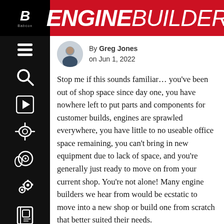ENGINE BUILDER
By Greg Jones on Jun 1, 2022
Stop me if this sounds familiar... you've been out of shop space since day one, you have nowhere left to put parts and components for customer builds, engines are sprawled everywhere, you have little to no useable office space remaining, you can't bring in new equipment due to lack of space, and you're generally just ready to move on from your current shop. You're not alone! Many engine builders we hear from would be ecstatic to move into a new shop or build one from scratch that better suited their needs.
We understand that this dream isn't always a